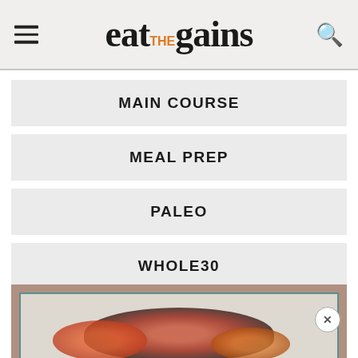eat the gains
MAIN COURSE
MEAL PREP
PALEO
WHOLE30
[Figure (photo): Partial photo of food ingredients visible at the bottom of the page, cut off]